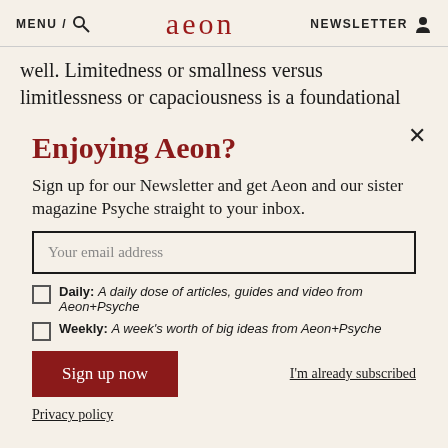MENU / [search icon] aeon NEWSLETTER [user icon]
well. Limitedness or smallness versus limitlessness or capaciousness is a foundational
Enjoying Aeon?
Sign up for our Newsletter and get Aeon and our sister magazine Psyche straight to your inbox.
Your email address
Daily: A daily dose of articles, guides and video from Aeon+Psyche
Weekly: A week's worth of big ideas from Aeon+Psyche
Sign up now
I'm already subscribed
Privacy policy